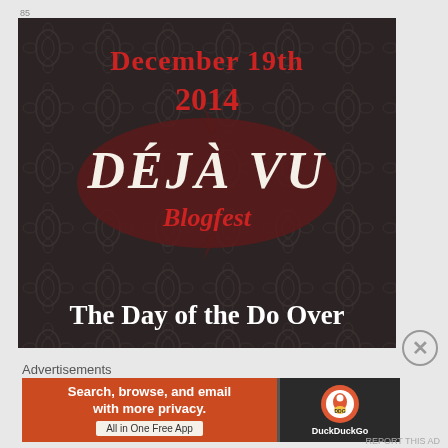[Figure (illustration): Dark damask-patterned background image promoting the Déjà Vu Blogfest on December 19th 2014, with large stylized text 'DÉJÀ VU Blogfest' and subtitle 'The Day of the Do Over']
Advertisements
[Figure (photo): DuckDuckGo advertisement banner: 'Search, browse, and email with more privacy. All in One Free App' on orange background with DuckDuckGo logo on dark background]